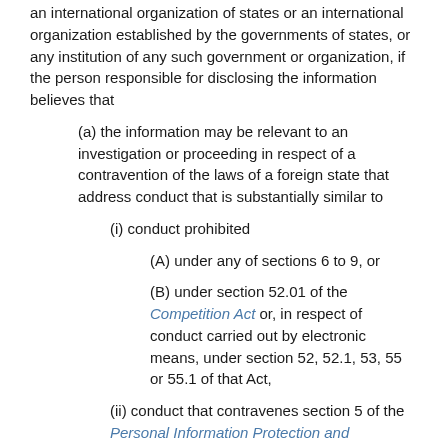an international organization of states or an international organization established by the governments of states, or any institution of any such government or organization, if the person responsible for disclosing the information believes that
(a) the information may be relevant to an investigation or proceeding in respect of a contravention of the laws of a foreign state that address conduct that is substantially similar to
(i) conduct prohibited
(A) under any of sections 6 to 9, or
(B) under section 52.01 of the Competition Act or, in respect of conduct carried out by electronic means, under section 52, 52.1, 53, 55 or 55.1 of that Act,
(ii) conduct that contravenes section 5 of the Personal Information Protection and Electronic